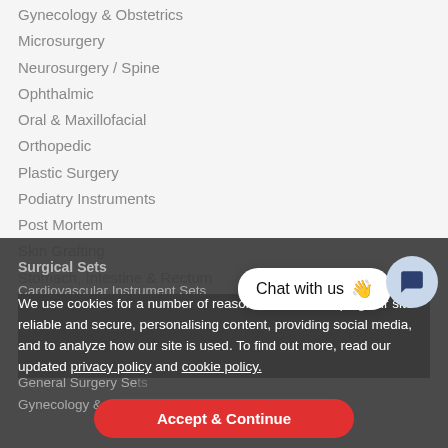Gynecology & Obstetrics
Microsurgery
Neurosurgery / Spine
Ophthalmic
Oral & Maxillofacial
Orthopedic
Plastic Surgery
Podiatry Instruments
Post Mortem
Skin Grafting
Stomach, Intestine & Rectum
Urology
We use cookies for a number of reasons, such as keeping our site reliable and secure, personalising content, providing social media, and to analyze how our site is used. To find out more, read our updated privacy policy and cookie policy.
Surgical Sets
Cardiovascular Instrument Sets
Dental Instrument Sets
Diagnostic Instrument Sets
ENT Instrument Sets
General Surgery Sets
Gynecology & Obstetrical Instrument Sets